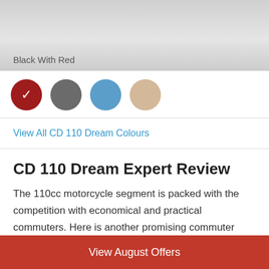Black With Red
[Figure (illustration): Four color circle swatches: red (selected with checkmark), gray, blue, beige]
View All CD 110 Dream Colours
CD 110 Dream Expert Review
The 110cc motorcycle segment is packed with the competition with economical and practical commuters. Here is another promising commuter from the diverse portfolio of Honda, the CD110 Dream. With a considerable
View August Offers